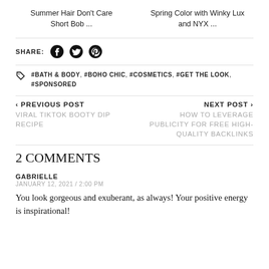Summer Hair Don't Care Short Bob ...
Spring Color with Winky Lux and NYX ...
SHARE: [Facebook] [Twitter] [Pinterest]
#BATH & BODY, #BOHO CHIC, #COSMETICS, #GET THE LOOK, #SPONSORED
< PREVIOUS POST
VIRAL TIKTOK BOOTY DIP RECIPE
NEXT POST >
HOW TO LEVERAGE PUBLICITY FOR FREE HIGH-QUALITY BACKLINKS
2 COMMENTS
GABRIELLE
JANUARY 12, 2021 / 2:00 PM
You look gorgeous and exuberant, as always! Your positive energy is inspirational!